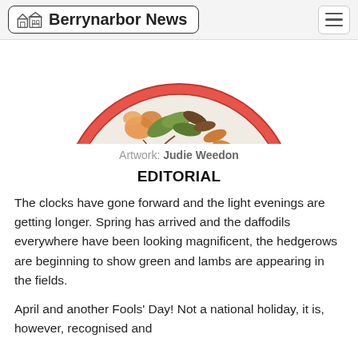Berrynarbor News
[Figure (illustration): Circular decorative plate with autumn botanical motifs — orange berries/fruit, green and brown leaves on a cream/beige background with a coral-red border ring. Only the upper half of the plate is visible, cropped at the bottom.]
Artwork: Judie Weedon
EDITORIAL
The clocks have gone forward and the light evenings are getting longer. Spring has arrived and the daffodils everywhere have been looking magnificent, the hedgerows are beginning to show green and lambs are appearing in the fields.
April and another Fools' Day! Not a national holiday, it is, however, recognised and